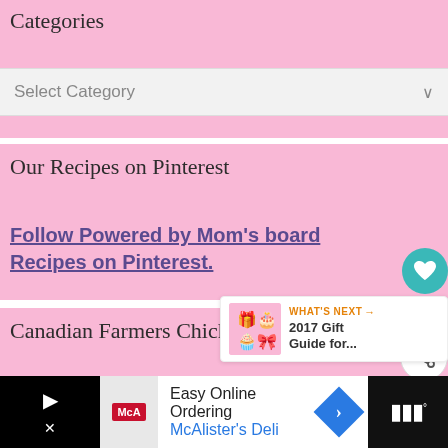Categories
Select Category
Our Recipes on Pinterest
Follow Powered by Mom's board Recipes on Pinterest.
Canadian Farmers Chicken Ambassador
[Figure (screenshot): What's Next widget showing '2017 Gift Guide for...' with colorful gift guide image thumbnail]
[Figure (logo): Partial circular Ambassador badge with text 'AMBASS' visible]
[Figure (screenshot): Advertisement bar at bottom: McAlister's Deli 'Easy Online Ordering' ad with play and close buttons on left, logo, text, navigation diamond, and dark right section]